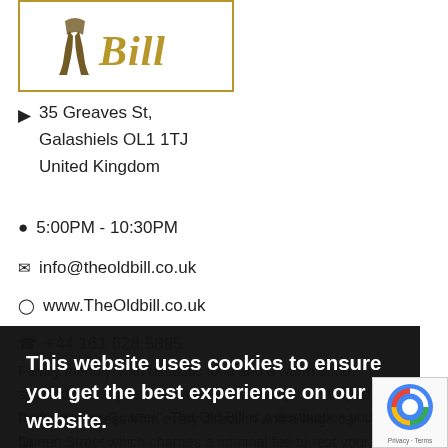[Figure (logo): The Old Bill restaurant logo: decorative figure with 'Bill' in gold italic script, inside a gold-bordered rectangle]
35 Greaves St,
Galashiels OL1 1TJ
United Kingdom
5:00PM - 10:30PM
info@theoldbill.co.uk
www.TheOldbill.co.uk
+44 161 628 5895
Family friendly, with fantastic food and a warm atmosphere, situated in the quiet, old world and newly developed "Independent Quarter". The Old Bill is a destination you simply have to visit.
Fantastic access from every direction and a large car park on Queen Street which charges a nominal fee to rest your tyres. A
This website uses cookies to ensure you get the best experience on our website.
OK